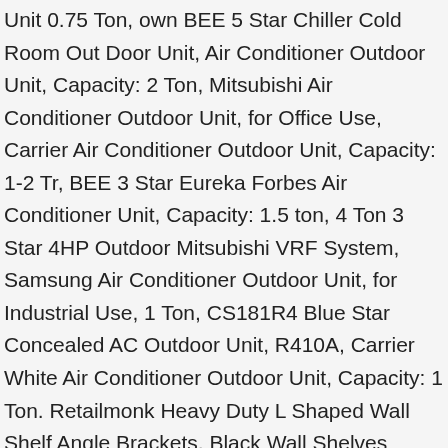Unit 0.75 Ton, own BEE 5 Star Chiller Cold Room Out Door Unit, Air Conditioner Outdoor Unit, Capacity: 2 Ton, Mitsubishi Air Conditioner Outdoor Unit, for Office Use, Carrier Air Conditioner Outdoor Unit, Capacity: 1-2 Tr, BEE 3 Star Eureka Forbes Air Conditioner Unit, Capacity: 1.5 ton, 4 Ton 3 Star 4HP Outdoor Mitsubishi VRF System, Samsung Air Conditioner Outdoor Unit, for Industrial Use, 1 Ton, CS181R4 Blue Star Concealed AC Outdoor Unit, R410A, Carrier White Air Conditioner Outdoor Unit, Capacity: 1 Ton. Retailmonk Heavy Duty L Shaped Wall Shelf Angle Brackets, Black Wall Shelves Metal ... MONITOR AC Stand/Heavy Duty Air Conditioner Outdoor Unit Mounting Bracket, TWONE Heavy Duty Air Conditioner Outdoor Wall Mounting Brackets Ac out door stand for 1 Ton, 1.1 Ton, 1.2 Ton, 1.5 Ton, 2 Ton Outdoor